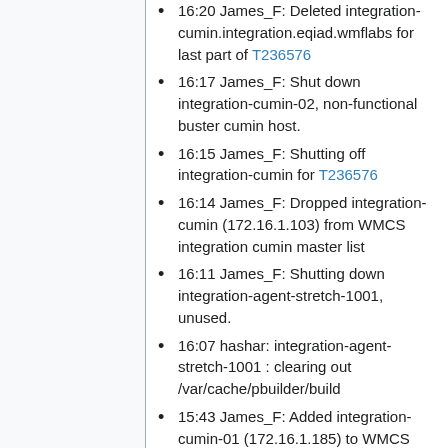16:20 James_F: Deleted integration-cumin.integration.eqiad.wmflabs for last part of T236576
16:17 James_F: Shut down integration-cumin-02, non-functional buster cumin host.
16:15 James_F: Shutting off integration-cumin for T236576
16:14 James_F: Dropped integration-cumin (172.16.1.103) from WMCS integration cumin master list
16:11 James_F: Shutting down integration-agent-stretch-1001, unused.
16:07 hashar: integration-agent-stretch-1001 : clearing out /var/cache/pbuilder/build
15:43 James_F: Added integration-cumin-01 (172.16.1.185) to WMCS integration cumin master list